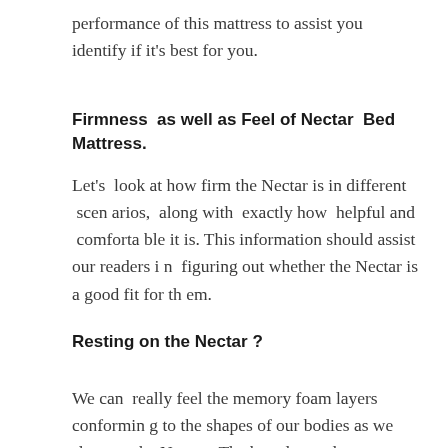performance of this mattress to assist you identify if it's best for you.
Firmness  as well as Feel of Nectar  Bed Mattress.
Let's  look at how firm the Nectar is in different  scenarios,  along with  exactly how  helpful and  comfortable it is. This information should assist our readers in  figuring out whether the Nectar is a good fit for them.
Resting on the Nectar ?
We can  really feel the memory foam layers conforming to the shapes of our bodies as we sleep on the Nectar. The base layer also  supplies excellent general su